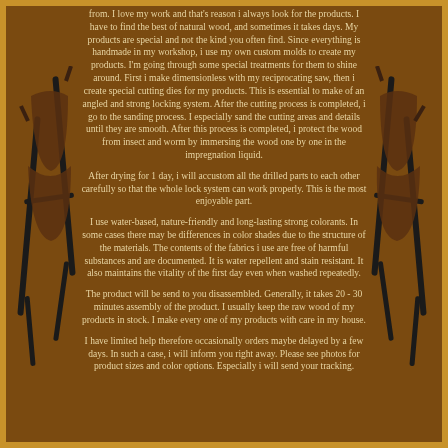[Figure (photo): Folding camp chair shown on left and right sides of the page as decorative borders]
from. I love my work and that's reason i always look for the products. I have to find the best of natural wood, and sometimes it takes days. My products are special and not the kind you often find. Since everything is handmade in my workshop, i use my own custom molds to create my products. I'm going through some special treatments for them to shine around. First i make dimensionless with my reciprocating saw, then i create special cutting dies for my products. This is essential to make of an angled and strong locking system. After the cutting process is completed, i go to the sanding process. I especially sand the cutting areas and details until they are smooth. After this process is completed, i protect the wood from insect and worm by immersing the wood one by one in the impregnation liquid.
After drying for 1 day, i will accustom all the drilled parts to each other carefully so that the whole lock system can work properly. This is the most enjoyable part.
I use water-based, nature-friendly and long-lasting strong colorants. In some cases there may be differences in color shades due to the structure of the materials. The contents of the fabrics i use are free of harmful substances and are documented. It is water repellent and stain resistant. It also maintains the vitality of the first day even when washed repeatedly.
The product will be send to you disassembled. Generally, it takes 20 - 30 minutes assembly of the product. I usually keep the raw wood of my products in stock. I make every one of my products with care in my house.
I have limited help therefore occasionally orders maybe delayed by a few days. In such a case, i will inform you right away. Please see photos for product sizes and color options. Especially i will send your tracking.